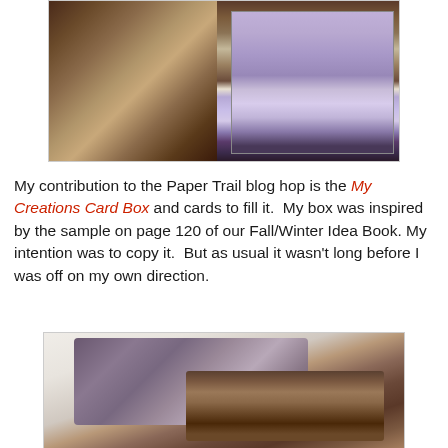[Figure (photo): Photo of a decorative card box open and displayed on a stand, with purple and cream damask patterned paper visible inside and on the lid, with brown exterior.]
My contribution to the Paper Trail blog hop is the My Creations Card Box and cards to fill it.  My box was inspired by the sample on page 120 of our Fall/Winter Idea Book. My intention was to copy it.  But as usual it wasn't long before I was off on my own direction.
[Figure (photo): Photo of a decorative handmade card box with dark brown/burgundy exterior, striped texture, stitched edges, fabric roses on top, and a green decorative flourish embellishment.]